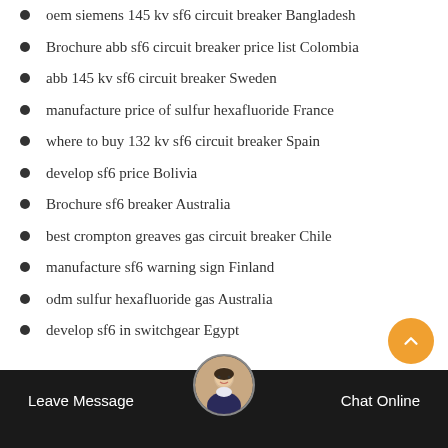oem siemens 145 kv sf6 circuit breaker Bangladesh
Brochure abb sf6 circuit breaker price list Colombia
abb 145 kv sf6 circuit breaker Sweden
manufacture price of sulfur hexafluoride France
where to buy 132 kv sf6 circuit breaker Spain
develop sf6 price Bolivia
Brochure sf6 breaker Australia
best crompton greaves gas circuit breaker Chile
manufacture sf6 warning sign Finland
odm sulfur hexafluoride gas Australia
develop sf6 in switchgear Egypt
Leave Message   Chat Online